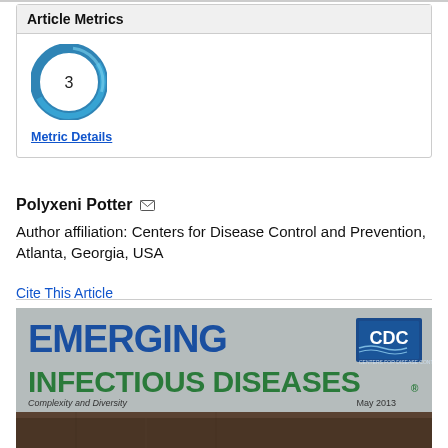Article Metrics
[Figure (donut-chart): Altmetric donut badge showing score of 3, rendered as concentric blue swirl ring with white center containing the number 3]
Metric Details
Polyxeni Potter
Author affiliation: Centers for Disease Control and Prevention, Atlanta, Georgia, USA
Cite This Article
[Figure (illustration): Journal cover of Emerging Infectious Diseases, May 2013 issue. Gray background with large blue bold text 'EMERGING' and green bold text 'INFECTIOUS DISEASES'. CDC logo in top right. Subtitle 'Complexity and Diversity' at bottom left, date 'May 2013' at bottom right. Bottom strip shows a partial photo.]